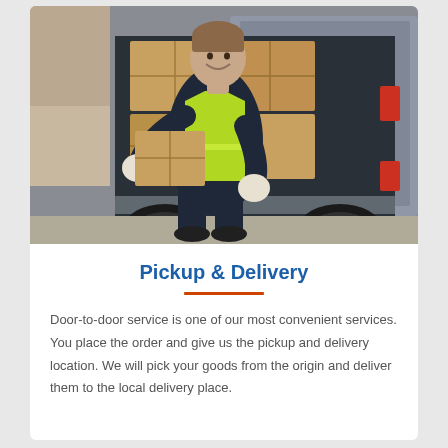[Figure (photo): A delivery worker in a yellow safety vest and dark uniform, sitting in the open back of a delivery van surrounded by cardboard boxes, smiling at the camera, wearing white gloves.]
Pickup & Delivery
Door-to-door service is one of our most convenient services. You place the order and give us the pickup and delivery location. We will pick your goods from the origin and deliver them to the local delivery place.